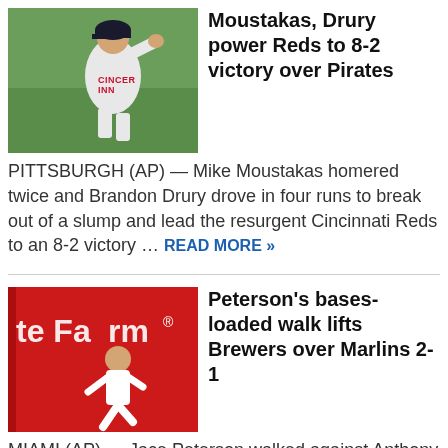[Figure (photo): Baseball player in Cincinnati Reds uniform pitching]
Moustakas, Drury power Reds to 8-2 victory over Pirates
PITTSBURGH (AP) — Mike Moustakas homered twice and Brandon Drury drove in four runs to break out of a slump and lead the resurgent Cincinnati Reds to an 8-2 victory … READ MORE »
[Figure (photo): Baseball player running in front of State Farm advertisement board]
Peterson's bases-loaded walk lifts Brewers over Marlins 2-1
MIAMI (AP) — Jace Peterson walked against Anthony Bender with the bases loaded in the ninth inning and the Milwaukee Brewers beat the Miami Marlins 2-1 Friday night. After starters … READ MORE »